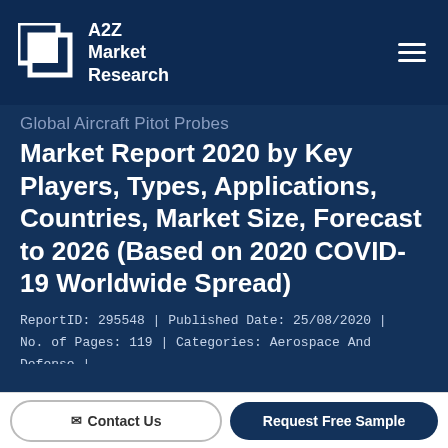A2Z Market Research
Global Aircraft Pitot Probes Market Report 2020 by Key Players, Types, Applications, Countries, Market Size, Forecast to 2026 (Based on 2020 COVID-19 Worldwide Spread)
ReportID: 295548 | Published Date: 25/08/2020 | No. of Pages: 119 | Categories: Aerospace And Defense | Formate :
[Figure (logo): Format icons: Access, PowerPoint, Excel, Word]
Contact Us  |  Request Free Sample